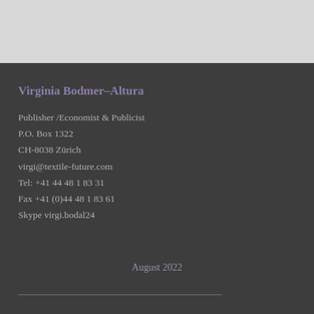Virginia Bodmer–Altura
Publisher /Economist & Publicist
P.O. Box 1322
CH-8038 Zürich
virgi@textile-future.com
Tel: +41 44 481 83 31
Fax +41 (0)44 481 83 61
Skype virgi.bodal24
August 2022